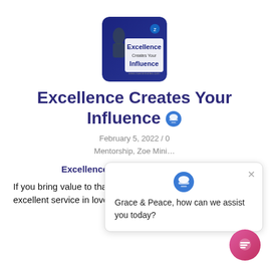[Figure (illustration): Thumbnail image showing 'Excellence Creates Your Influence' text on a dark blue background with a globe/books icon]
Excellence Creates Your Influence
February 5, 2022 / 0
Mentorship, Zoe Mini…
[Figure (screenshot): Chat popup widget with logo icon showing message: 'Grace & Peace, how can we assist you today?' with a close X button, and a pink chat bubble button in the bottom right corner]
Excellence Creates Your Influence
If you bring value to that field thr… excellent service in love, you have a right to